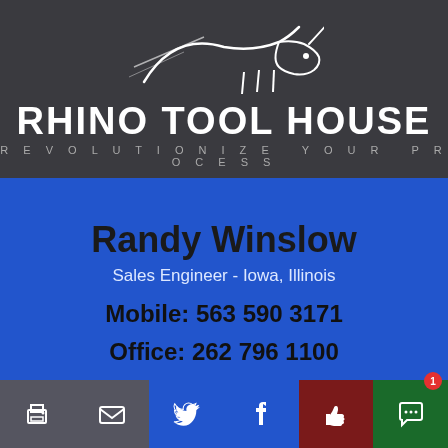[Figure (logo): Rhino Tool House logo with rhino silhouette illustration and text 'RHINO TOOL HOUSE' and tagline 'REVOLUTIONIZE YOUR PROCESS' on dark gray background]
Randy Winslow
Sales Engineer - Iowa, Illinois
Mobile: 563 590 3171
Office: 262 796 1100
[Figure (infographic): Bottom icon bar with print, email, Twitter, Facebook, thumbs-up, and chat bubble icons in gray, blue, dark red, and dark green sections]